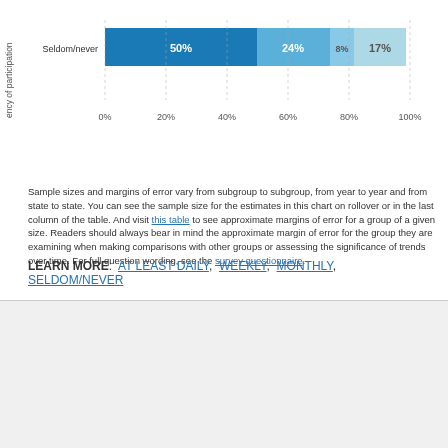[Figure (stacked-bar-chart): Seldom/never]
Sample sizes and margins of error vary from subgroup to subgroup, from year to year and from state to state. You can see the sample size for the estimates in this chart on rollover or in the last column of the table. And visit this table to see approximate margins of error for a group of a given size. Readers should always bear in mind the approximate margin of error for the group they are examining when making comparisons with other groups or assessing the significance of trends over time. For full question wording, see the survey questionnaire.
LEARN MORE: AT LEAST DAILY, WEEKLY, MONTHLY, SELDOM/NEVER
[Figure (logo): Pew Research Center logo with sunburst icon]
1615 L St. NW, Suite 800